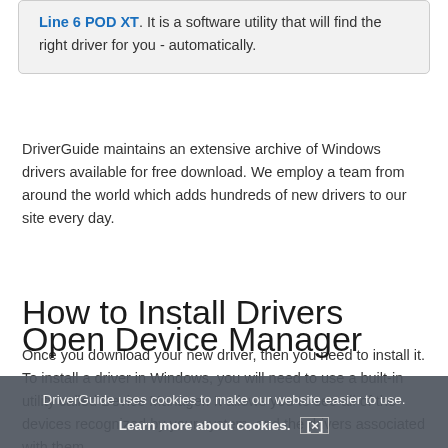Line 6 POD XT. It is a software utility that will find the right driver for you - automatically.
DriverGuide maintains an extensive archive of Windows drivers available for free download. We employ a team from around the world which adds hundreds of new drivers to our site every day.
How to Install Drivers
Once you download your new driver, then you need to install it. To install a driver in Windows, you will need to use a built-in utility called Device Manager. It allows you to see all of the devices recognized by your system, and the drivers associated with them.
Open Device Manager
DriverGuide uses cookies to make our website easier to use.
Learn more about cookies. [×]